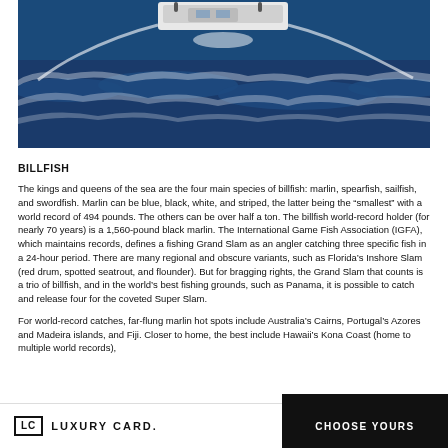[Figure (photo): Aerial or elevated view of a sport fishing boat on deep blue ocean waves, with white wake and rough sea conditions.]
BILLFISH
The kings and queens of the sea are the four main species of billfish: marlin, spearfish, sailfish, and swordfish. Marlin can be blue, black, white, and striped, the latter being the “smallest” with a world record of 494 pounds. The others can be over half a ton. The billfish world-record holder (for nearly 70 years) is a 1,560-pound black marlin. The International Game Fish Association (IGFA), which maintains records, defines a fishing Grand Slam as an angler catching three specific fish in a 24-hour period. There are many regional and obscure variants, such as Florida’s Inshore Slam (red drum, spotted seatrout, and flounder). But for bragging rights, the Grand Slam that counts is a trio of billfish, and in the world’s best fishing grounds, such as Panama, it is possible to catch and release four for the coveted Super Slam.
For world-record catches, far-flung marlin hot spots include Australia’s Cairns, Portugal’s Azores and Madeira islands, and Fiji. Closer to home, the best include Hawaii’s Kona Coast (home to multiple world records),
LC LUXURY CARD.   CHOOSE YOURS